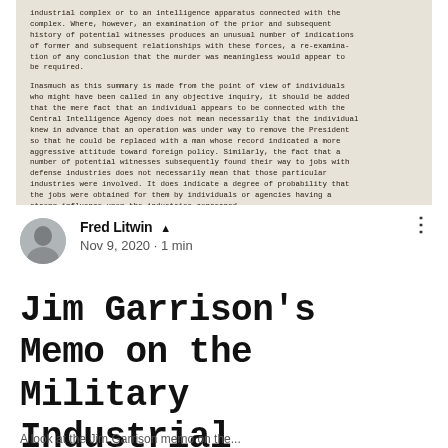[Figure (photo): Scanned typewritten document page showing text about military-industrial complex and CIA. Text discusses potential witnesses, defense industries, and probability of influence.]
Fred Litwin 👑
Nov 9, 2020 · 1 min
Jim Garrison's Memo on the Military Industrial Complex
A look at the Jim Garrison memo on the...